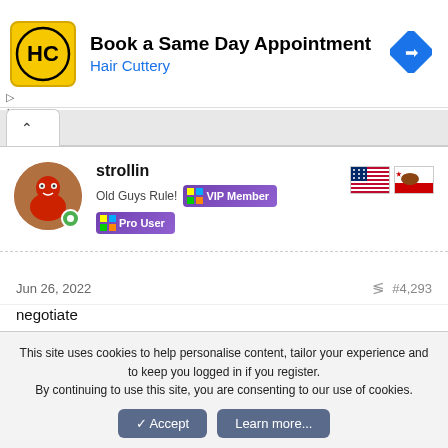[Figure (infographic): Hair Cuttery advertisement banner: HC logo on yellow background, text 'Book a Same Day Appointment', subtitle 'Hair Cuttery' in blue, navigation arrow icon on right]
strollin
Old Guys Rule!  VIP Member
Pro User
Jun 26, 2022
#4,293
negotiate
▶ My Computer
This site uses cookies to help personalise content, tailor your experience and to keep you logged in if you register.
By continuing to use this site, you are consenting to our use of cookies.